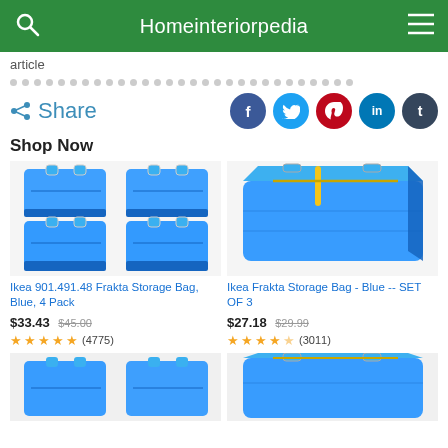Homeinteriorpedia
article
Share
Shop Now
[Figure (photo): Ikea Frakta blue storage bags 4 pack]
[Figure (photo): Ikea Frakta blue storage bag single large]
Ikea 901.491.48 Frakta Storage Bag, Blue, 4 Pack
Ikea Frakta Storage Bag - Blue -- SET OF 3
$33.43 $45.00 (4775)
$27.18 $29.99 (3011)
[Figure (photo): Ikea Frakta blue bags partial view bottom left]
[Figure (photo): Ikea Frakta blue bag partial view bottom right]